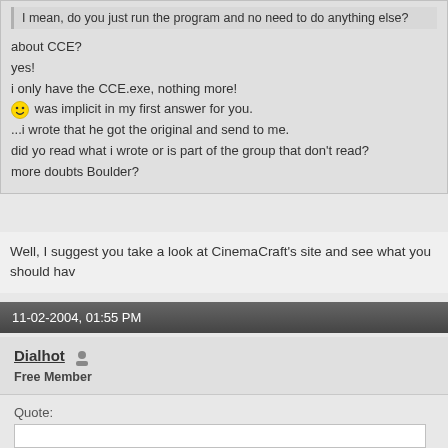I mean, do you just run the program and no need to do anything else?
about CCE?
yes!
i only have the CCE.exe, nothing more!
:) was implicit in my first answer for you.
...i wrote that he got the original and send to me.
did yo read what i wrote or is part of the group that don't read?
more doubts Boulder?
Well, I suggest you take a look at CinemaCraft's site and see what you should hav
11-02-2004, 01:55 PM
Dialhot
Free Member
Quote: